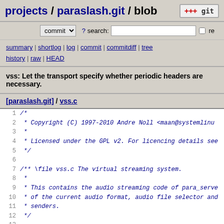projects / paraslash.git / blob
commit ? search: re
summary | shortlog | log | commit | commitdiff | tree history | raw | HEAD
vss: Let the transport specify whether periodic headers are necessary.
[paraslash.git] / vss.c
1  /*
2   * Copyright (C) 1997-2010 Andre Noll <maan@systemlinu
3   *
4   * Licensed under the GPL v2. For licencing details see
5   */
6
7  /** \file vss.c The virtual streaming system.
8   *
9   * This contains the audio streaming code of para_serve
10  * of the current audio format, audio file selector and
11  * senders.
12  */
13
14 #include <regex.h>
15 #include <dirent.h>
16 #include <osl.h>
17
18 #include "para.h"